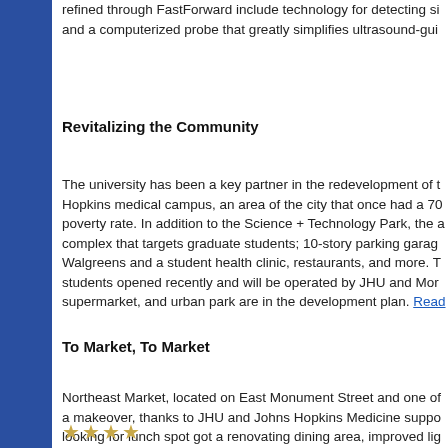refined through FastForward include technology for detecting si and a computerized probe that greatly simplifies ultrasound-gui
Revitalizing the Community
The university has been a key partner in the redevelopment of the Hopkins medical campus, an area of the city that once had a 70 poverty rate. In addition to the Science + Technology Park, the a complex that targets graduate students; 10-story parking garage Walgreens and a student health clinic, restaurants, and more. T students opened recently and will be operated by JHU and Morg supermarket, and urban park are in the development plan. Read more
To Market, To Market
Northeast Market, located on East Monument Street and one of a makeover, thanks to JHU and Johns Hopkins Medicine suppo looking for lunch spot got a renovating dining area, improved lig Read more.
[Figure (other): Star rating icons at bottom of page]